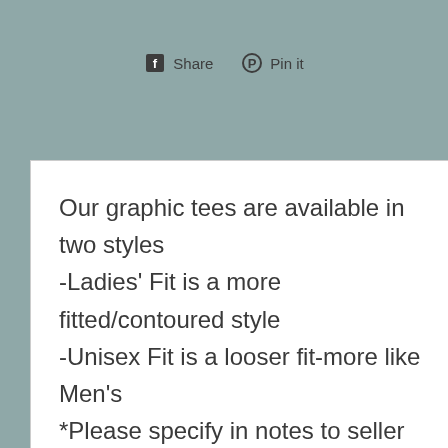[Figure (screenshot): Social share buttons: Facebook Share and Pinterest Pin it]
Our graphic tees are available in two styles -Ladies' Fit is a more fitted/contoured style -Unisex Fit is a looser fit-more like Men's *Please specify in notes to seller which fit (see pics)
Colors:
Gray, White, Mint, Sand, Daisy, Pink, Lila